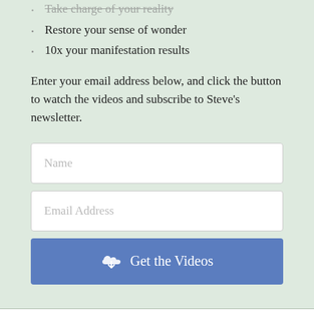Take charge of your reality
Restore your sense of wonder
10x your manifestation results
Enter your email address below, and click the button to watch the videos and subscribe to Steve's newsletter.
[Figure (other): Name input field (form element)]
[Figure (other): Email Address input field (form element)]
[Figure (other): Get the Videos button with download cloud icon]
How to Be Stronger Than Your Bills and Debt